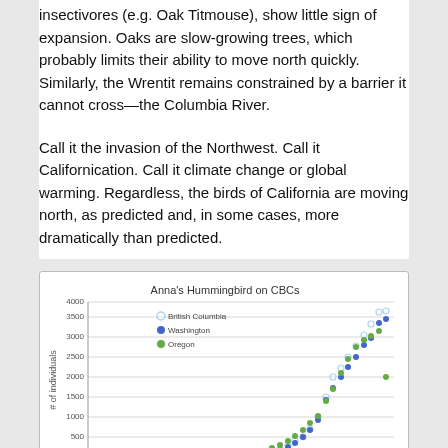insectivores (e.g. Oak Titmouse), show little sign of expansion. Oaks are slow-growing trees, which probably limits their ability to move north quickly. Similarly, the Wrentit remains constrained by a barrier it cannot cross—the Columbia River.
Call it the invasion of the Northwest. Call it Californication. Call it climate change or global warming. Regardless, the birds of California are moving north, as predicted and, in some cases, more dramatically than predicted.
[Figure (scatter-plot): Anna's Hummingbird on CBCs]